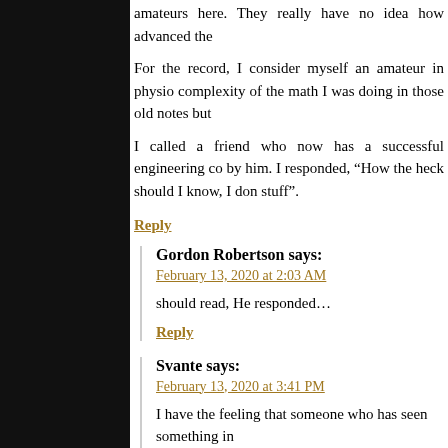amateurs here. They really have no idea how advanced the
For the record, I consider myself an amateur in physio complexity of the math I was doing in those old notes but
I called a friend who now has a successful engineering co by him. I responded, “How the heck should I know, I don stuff”.
Reply
Gordon Robertson says:
February 13, 2020 at 2:03 AM
should read, He responded…
Reply
Svante says:
February 13, 2020 at 3:41 PM
I have the feeling that someone who has seen something in